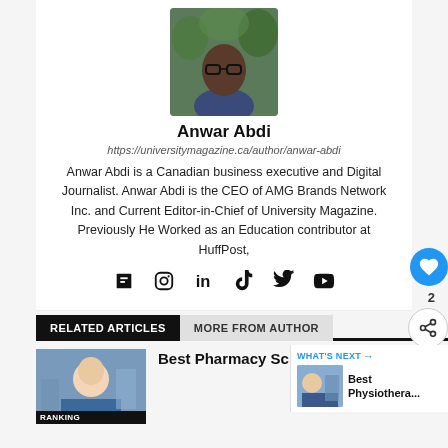[Figure (photo): Headshot photo of Anwar Abdi, a man wearing glasses and a blue shirt, standing in front of green foliage]
Anwar Abdi
https://universitymagazine.ca/author/anwar-abdi
Anwar Abdi is a Canadian business executive and Digital Journalist. Anwar Abdi is the CEO of AMG Brands Network Inc. and Current Editor-in-Chief of University Magazine. Previously He Worked as an Education contributor at HuffPost,
[Figure (other): Social media icons: Flipboard, Instagram, LinkedIn, TikTok, Twitter, YouTube]
RELATED ARTICLES
MORE FROM AUTHOR
[Figure (photo): Thumbnail photo of a woman pharmacist holding medication in a pharmacy]
Best Pharmacy Schools in 2022
WHAT'S NEXT → Best Physiothera...
[Figure (photo): Small thumbnail image related to physiotherapy]